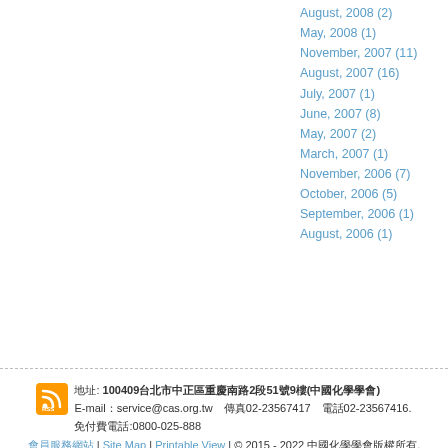August, 2008 (2)
May, 2008 (1)
November, 2007 (11)
August, 2007 (16)
July, 2007 (1)
June, 2007 (8)
May, 2007 (2)
March, 2007 (1)
November, 2006 (7)
October, 2006 (5)
September, 2006 (1)
August, 2006 (1)
地址: 100409台北市中正區重慶南路2段51號9樓(中國化學學會) E-mail：service@cas.org.tw　傳真02-23567417　電話02-23567416. 免付費電話:0800-025-888 會員服務網站 | Site Map | Printable View | © 2015 - 2022 中國化學學會版權所有.